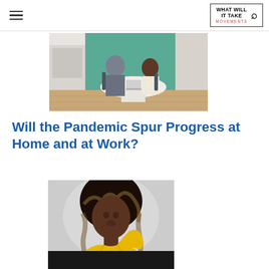WHAT WILL IT TAKE MOVEMENTS
[Figure (photo): Two people sitting at a white round table in a room with a teal/green wall, working on laptops. Wooden floor visible. Appears to be a couple working from home.]
Will the Pandemic Spur Progress at Home and at Work?
[Figure (photo): Portrait photo of a young Black woman with long wavy highlighted hair, wearing a yellow one-shoulder dress, photographed against a light gray background. A dark banner/bar appears at the bottom of the image.]